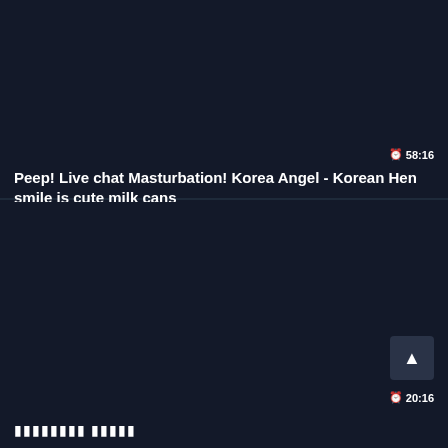58:16
Peep! Live chat Masturbation! Korea Angel - Korean Hen smile is cute milk cans
[Figure (screenshot): Dark background area representing a video thumbnail placeholder]
20:16
▮▮▮▮▮▮▮▮ ▮▮▮▮▮